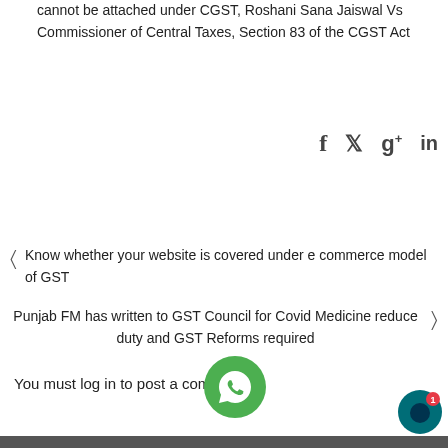cannot be attached under CGST, Roshani Sana Jaiswal Vs Commissioner of Central Taxes, Section 83 of the CGST Act
[Figure (infographic): Social sharing icons: Facebook, Twitter, Google+, LinkedIn]
Know whether your website is covered under e commerce model of GST
Punjab FM has written to GST Council for Covid Medicine reduce duty and GST Reforms required
You must log in to post a comment.
[Figure (other): WhatsApp floating button (green circle with phone icon)]
[Figure (other): Chat widget button (teal/dark circle with notification badge showing 1)]